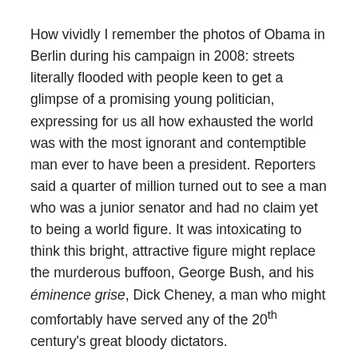How vividly I remember the photos of Obama in Berlin during his campaign in 2008: streets literally flooded with people keen to get a glimpse of a promising young politician, expressing for us all how exhausted the world was with the most ignorant and contemptible man ever to have been a president. Reporters said a quarter of million turned out to see a man who was a junior senator and had no claim yet to being a world figure. It was intoxicating to think this bright, attractive figure might replace the murderous buffoon, George Bush, and his éminence grise, Dick Cheney, a man who might comfortably have served any of the 20th century's great bloody dictators.
A few years later, in 2013, an estimated 4 to 6 thousand showed up for a major speech by then-President Obama, and one is surprised even that many showed, but then